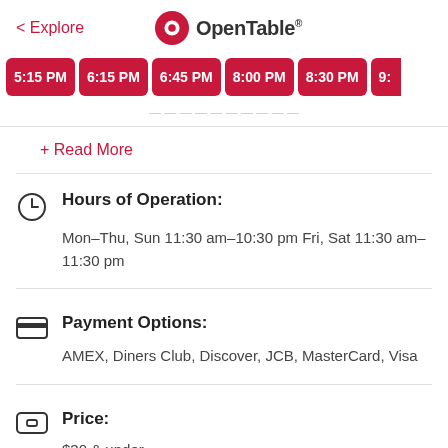< Explore | OpenTable
5:15 PM
6:15 PM
6:45 PM
8:00 PM
8:30 PM
9:
+ Read More
Hours of Operation:
Mon–Thu, Sun 11:30 am–10:30 pm Fri, Sat 11:30 am–11:30 pm
Payment Options:
AMEX, Diners Club, Discover, JCB, MasterCard, Visa
Price:
$30 & under